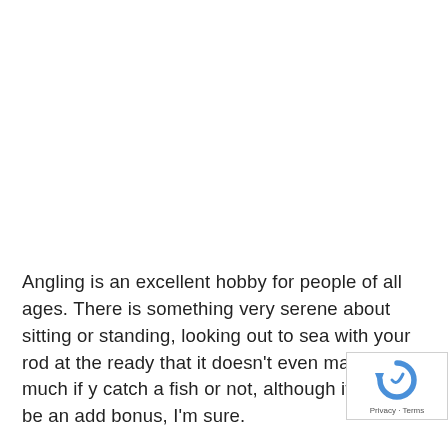Angling is an excellent hobby for people of all ages. There is something very serene about sitting or standing, looking out to sea with your rod at the ready that it doesn't even matter too much if you catch a fish or not, although it would be an added bonus, I'm sure.
[Figure (logo): reCAPTCHA badge with circular arrow logo icon and Privacy · Terms text]